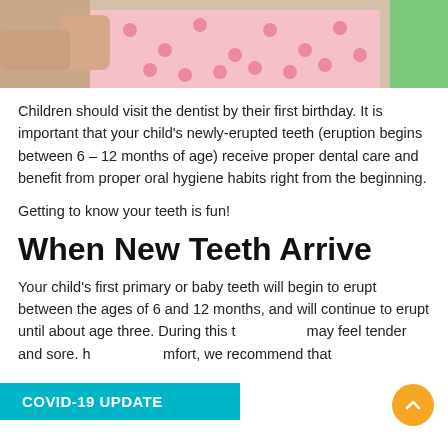[Figure (photo): Child at dentist, wearing pink polka dot outfit, being examined. Hands of adult visible.]
Children should visit the dentist by their first birthday. It is important that your child's newly-erupted teeth (eruption begins between 6 – 12 months of age) receive proper dental care and benefit from proper oral hygiene habits right from the beginning.
Getting to know your teeth is fun!
When New Teeth Arrive
Your child's first primary or baby teeth will begin to erupt between the ages of 6 and 12 months, and will continue to erupt until about age three. During this time, gums may feel tender and sore. To help comfort, we recommend that
COVID-19 UPDATE